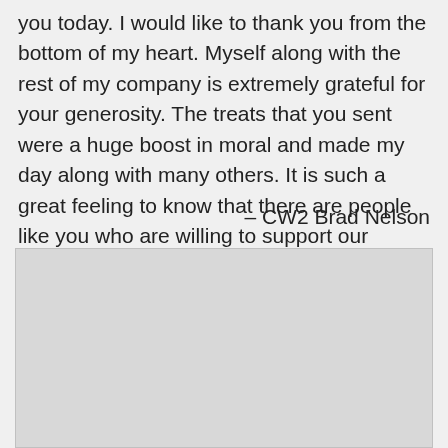you today. I would like to thank you from the bottom of my heart. Myself along with the rest of my company is extremely grateful for your generosity. The treats that you sent were a huge boost in moral and made my day along with many others. It is such a great feeling to know that there are people like you who are willing to support our troops.
– CW2 Brad Nelson
[Figure (photo): A light gray image placeholder box occupying the lower portion of the page.]